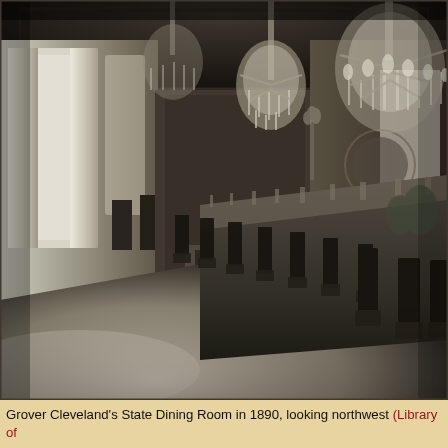[Figure (photo): Black and white photograph of Grover Cleveland's State Dining Room in 1890, looking northwest. The room features a long formal dining table set with many chairs, elaborate crystal chandeliers hanging from an ornately decorated ceiling, tall curtained windows on the left, decorative wallpaper and moldings, and various floral and tabletop arrangements. The perspective shows the depth of the room with a large mirror at the far end.]
Grover Cleveland's State Dining Room in 1890, looking northwest (Library of